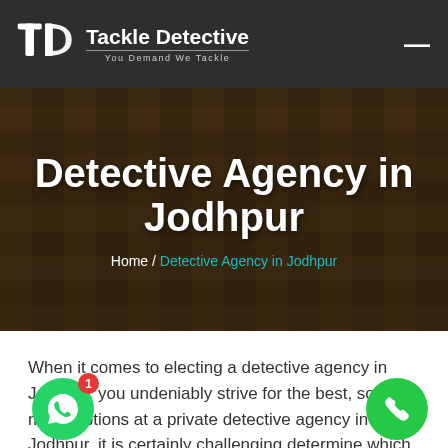Tackle Detective — You Demand We Tackle
Detective Agency in Jodhpur
Home / Detective Agency in Jodhpur
When it comes to electing a detective agency in Jodhpur, you undeniably strive for the best, so many options at a private detective agency in Jodhpur, it is certainly challenging determine which one The most reliable and